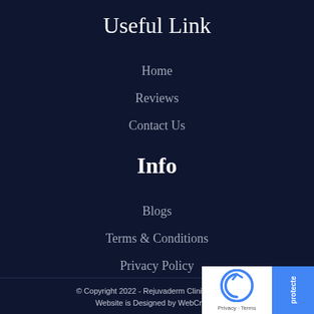Useful Link
Home
Reviews
Contact Us
Info
Blogs
Terms & Conditions
Privacy Policy
© Copyright 2022 - Rejuvaderm Clinics ltd All R... Website is Designed by WebCreatio...